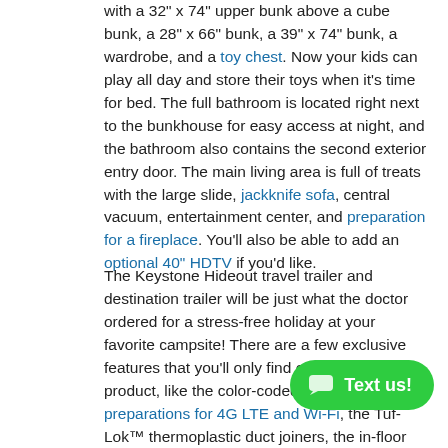with a 32" x 74" upper bunk above a cube bunk, a 28" x 66" bunk, a 39" x 74" bunk, a wardrobe, and a toy chest. Now your kids can play all day and store their toys when it's time for bed. The full bathroom is located right next to the bunkhouse for easy access at night, and the bathroom also contains the second exterior entry door. The main living area is full of treats with the large slide, jackknife sofa, central vacuum, entertainment center, and preparation for a fireplace. You'll also be able to add an optional 40" HDTV if you'd like.
The Keystone Hideout travel trailer and destination trailer will be just what the doctor ordered for a stress-free holiday at your favorite campsite! There are a few exclusive features that you'll only find on a Keystone product, like the color-coded unified wiring, the preparations for 4G LTE and Wi-Fi, the Tuf-Lok™ thermoplastic duct joiners, the in-floor heating ducts, and the Tru-fit™ slide construction. Each model has an awning for some shade in the afternoon, and the safety glass windows will prevent the harmful UV rays from getting inside. You'll also have blackout night